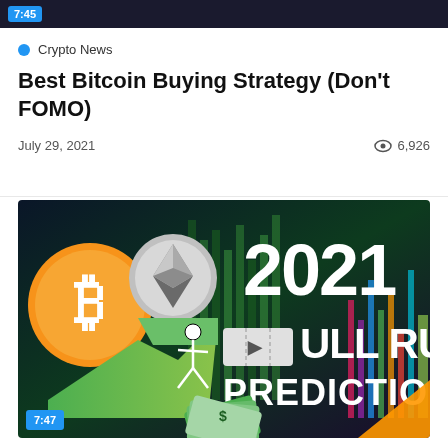7:45
Crypto News
Best Bitcoin Buying Strategy (Don't FOMO)
July 29, 2021   6,926
[Figure (screenshot): Thumbnail image for a cryptocurrency video showing Bitcoin and Ethereum logos, a green upward arrow, cash/money fan, and large text reading '2021 BULL RUN PREDICTIONS' on a dark green gradient background. A '7:47' time badge appears in the bottom-left corner.]